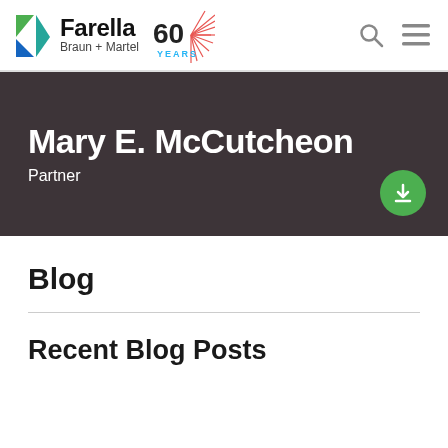Farella Braun + Martel 60 YEARS
Mary E. McCutcheon
Partner
Blog
Recent Blog Posts